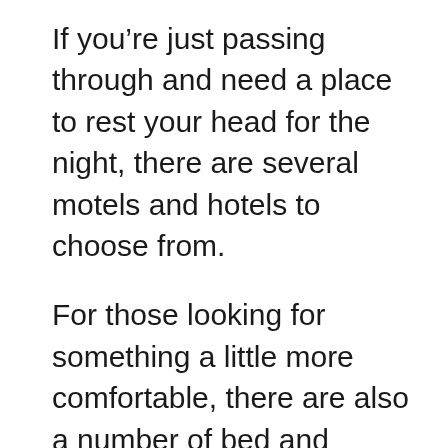If you’re just passing through and need a place to rest your head for the night, there are several motels and hotels to choose from.
For those looking for something a little more comfortable, there are also a number of bed and breakfasts. If you’re planning a longer stay or are looking for a more spacious option, there are vacation rentals available as well.
Check out some of the accommodations available in and around the the town.